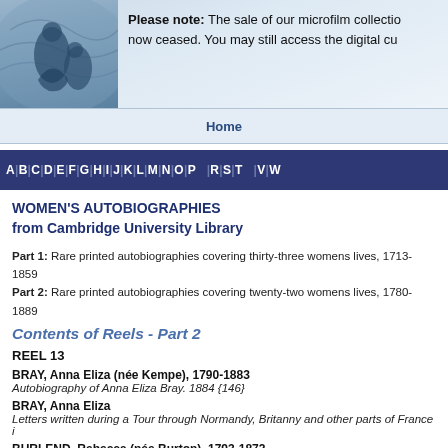Please note: The sale of our microfilm collection has now ceased. You may still access the digital...
[Figure (illustration): Decorative header image with classical figures on light blue background]
Home
A | B | C | D | E | F | G | H | I | J | K | L | M | N | O | P | R | S | T | V | W
WOMEN'S AUTOBIOGRAPHIES
from Cambridge University Library
Part 1: Rare printed autobiographies covering thirty-three womens lives, 1713-1859
Part 2: Rare printed autobiographies covering twenty-two womens lives, 1780-1889
Contents of Reels - Part 2
REEL 13
BRAY, Anna Eliza (née Kempe), 1790-1883
Autobiography of Anna Eliza Bray. 1884 {146}
BRAY, Anna Eliza
Letters written during a Tour through Normandy, Britanny and other parts of France i...
BURLEND, Rebecca (née Burton), 1793-1872
A True Picture of Emigration; or fourteen years in the Interior of North America. [184...